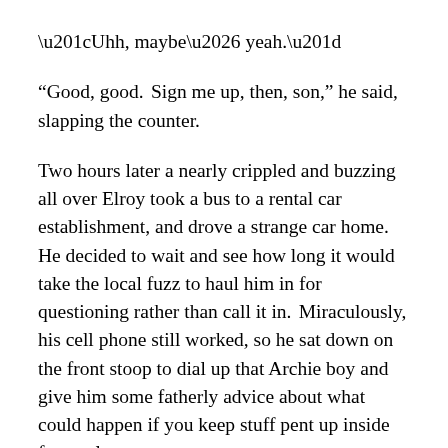“Uhh, maybe… yeah.”
“Good, good.  Sign me up, then, son,” he said, slapping the counter.
Two hours later a nearly crippled and buzzing all over Elroy took a bus to a rental car establishment, and drove a strange car home.  He decided to wait and see how long it would take the local fuzz to haul him in for questioning rather than call it in.  Miraculously, his cell phone still worked, so he sat down on the front stoop to dial up that Archie boy and give him some fatherly advice about what could happen if you keep stuff pent up inside for too long.
Off in the darkness, just out of sight where he couldn’t see them, there stood two angels scanning the block up and down like hawks.  Now that he had finally